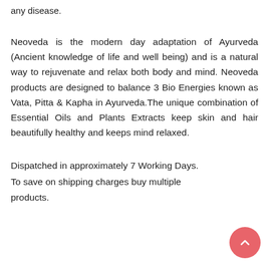any disease.
Neoveda is the modern day adaptation of Ayurveda (Ancient knowledge of life and well being) and is a natural way to rejuvenate and relax both body and mind. Neoveda products are designed to balance 3 Bio Energies known as Vata, Pitta & Kapha in Ayurveda.The unique combination of Essential Oils and Plants Extracts keep skin and hair beautifully healthy and keeps mind relaxed.
Dispatched in approximately 7 Working Days. To save on shipping charges buy multiple products.